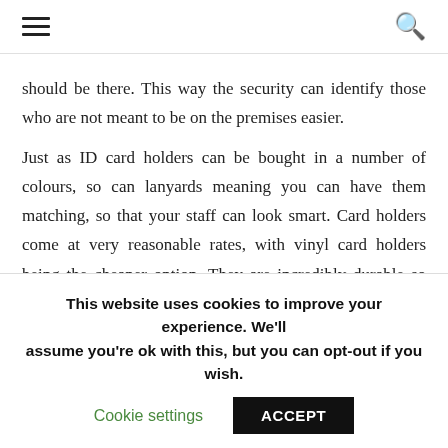☰ 🔍
should be there. This way the security can identify those who are not meant to be on the premises easier.

Just as ID card holders can be bought in a number of colours, so can lanyards meaning you can have them matching, so that your staff can look smart. Card holders come at very reasonable rates, with vinyl card holders being the cheaper option. They are incredibly durable so you can
This website uses cookies to improve your experience. We'll assume you're ok with this, but you can opt-out if you wish.
Cookie settings   ACCEPT